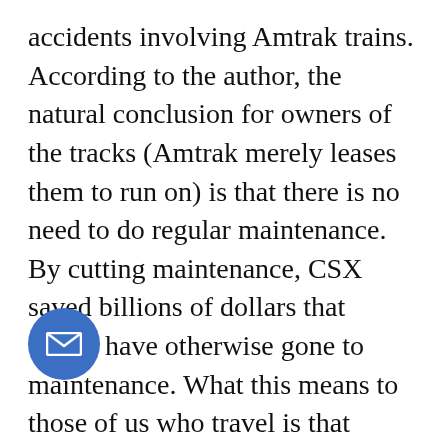accidents involving Amtrak trains. According to the author, the natural conclusion for owners of the tracks (Amtrak merely leases them to run on) is that there is no need to do regular maintenance. By cutting maintenance, CSX saved billions of dollars that would have otherwise gone to maintenance. What this means to those of us who travel is that maintenance-regulation-heavy plane crashes kill 1.9 folks per 100 million miles traveled, big trucks (also well regulated) kill about 2.5 people per 100 million miles traveled, and trains kill 130 people per hundred million miles traveled. Since inspectors are so under-funded, few accidents are investigated. In one case, where the author says a judge ruled that the ultimate cause of a death was CSX' reckless disregard for human life, the punitive damages against CSX were passed to Amtrak to be paid by the